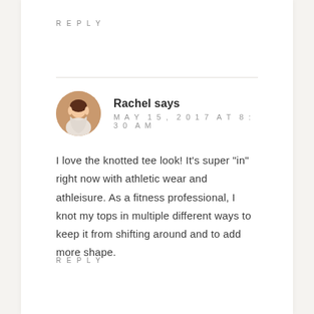REPLY
[Figure (photo): Circular avatar photo of Rachel, a woman with dark hair wearing a white top, warm brown background]
Rachel says
MAY 15, 2017 AT 8:30 AM
I love the knotted tee look! It’s super “in” right now with athletic wear and athleisure. As a fitness professional, I knot my tops in multiple different ways to keep it from shifting around and to add more shape.
REPLY